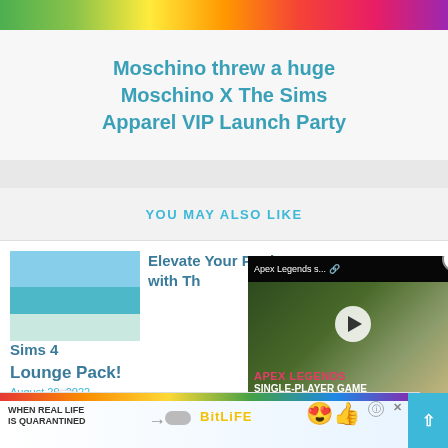[Figure (photo): Colorful banner image strip at top of page]
Moschino threw a huge Moschino X The Sims Apparel VIP Launch Party
YOU MAY ALSO LIKE
Elevate Your Pools with The Sims 4 Lounge Pack!
August 29, 2022
[Figure (screenshot): Apex Legends s... video overlay with play button and text APEX LEGENDS SINGLE-PLAYER GAME]
The Sims 4 Custom
[Figure (photo): Advertisement banner: WHEN REAL LIFE IS QUARANTINED with BitLife branding and emoji]